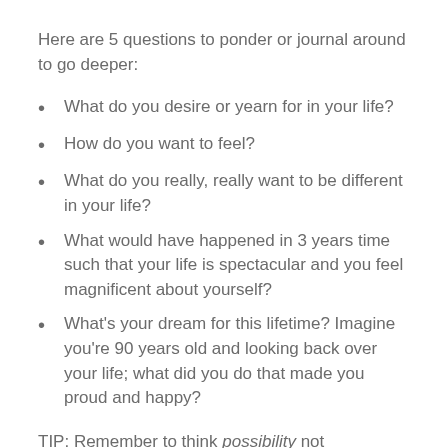Here are 5 questions to ponder or journal around to go deeper:
What do you desire or yearn for in your life?
How do you want to feel?
What do you really, really want to be different in your life?
What would have happened in 3 years time such that your life is spectacular and you feel magnificent about yourself?
What's your dream for this lifetime? Imagine you're 90 years old and looking back over your life; what did you do that made you proud and happy?
TIP: Remember to think possibility not probability! Don't limit yourself and your ideas because you don't believe something is likely. Instead believe it's possible – and even if you don't get all the way there,